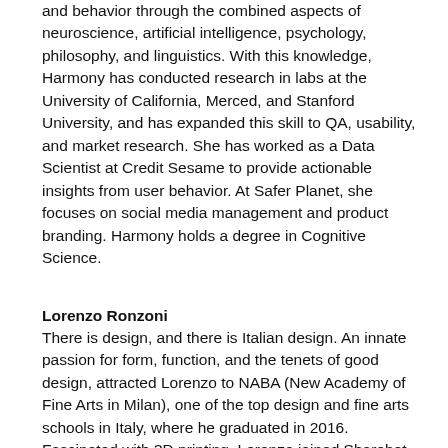and behavior through the combined aspects of neuroscience, artificial intelligence, psychology, philosophy, and linguistics. With this knowledge, Harmony has conducted research in labs at the University of California, Merced, and Stanford University, and has expanded this skill to QA, usability, and market research. She has worked as a Data Scientist at Credit Sesame to provide actionable insights from user behavior. At Safer Planet, she focuses on social media management and product branding. Harmony holds a degree in Cognitive Science.
Lorenzo Ronzoni
There is design, and there is Italian design. An innate passion for form, function, and the tenets of good design, attracted Lorenzo to NABA (New Academy of Fine Arts in Milan), one of the top design and fine arts schools in Italy, where he graduated in 2016. Fascinated with 3D printing, Lorenzo joined Sharebot  (a leading company in the production of 3D printers) where he mastered digital production and 3D tech. He was the co-